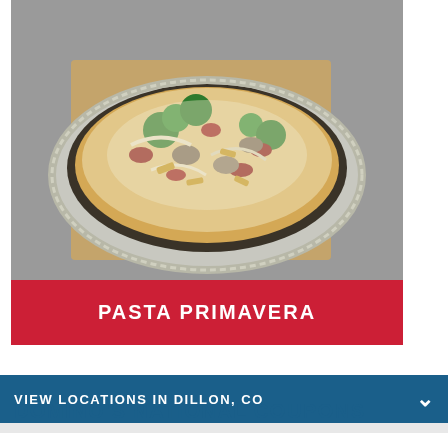[Figure (photo): Pasta Primavera in a round aluminum foil baking pan on a brown paper background, filled with penne pasta, broccoli, mushrooms, sun-dried tomatoes, onions, and cheese]
PASTA PRIMAVERA
VIEW LOCATIONS IN DILLON, CO
DOMINO'S NATIONAL COUPONS